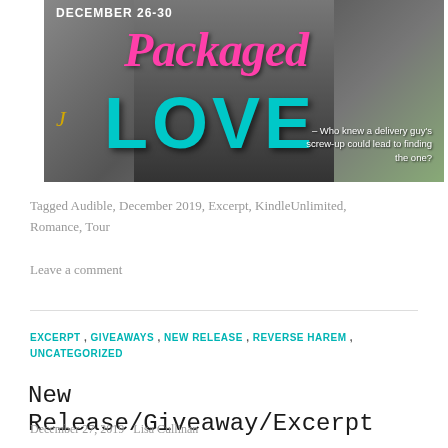[Figure (illustration): Book cover for 'Packaged Love' showing December 26-30 tour dates, pink cursive title 'Packaged' and teal bold 'LOVE', tagline 'Who knew a delivery guy's screw-up could lead to finding the one?']
Tagged Audible, December 2019, Excerpt, KindleUnlimited, Romance, Tour
Leave a comment
EXCERPT , GIVEAWAYS , NEW RELEASE , REVERSE HAREM , UNCATEGORIZED
New Release/Giveaway/Excerpt
December 27, 2019   Lisa Cullinan